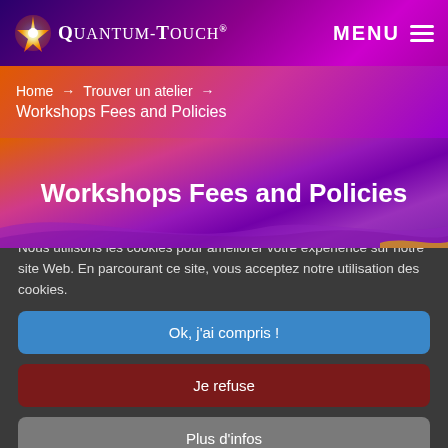Quantum-Touch® MENU
Home → Trouver un atelier → Workshops Fees and Policies
Workshops Fees and Policies
Nous utilisons les cookies pour améliorer votre expérience sur notre site Web. En parcourant ce site, vous acceptez notre utilisation des cookies.
Ok, j'ai compris !
Je refuse
Plus d'infos